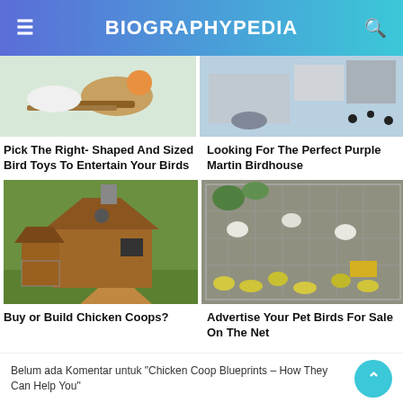BIOGRAPHYPEDIA
[Figure (photo): Bird with colorful plumage on a branch with toys]
[Figure (photo): Purple martin birdhouse with birds]
Pick The Right- Shaped And Sized Bird Toys To Entertain Your Birds
Looking For The Perfect Purple Martin Birdhouse
[Figure (photo): Wooden chicken coop with ramp on grass]
[Figure (photo): Yellow and white birds in a cage for sale]
Buy or Build Chicken Coops?
Advertise Your Pet Birds For Sale On The Net
Belum ada Komentar untuk "Chicken Coop Blueprints – How They Can Help You"